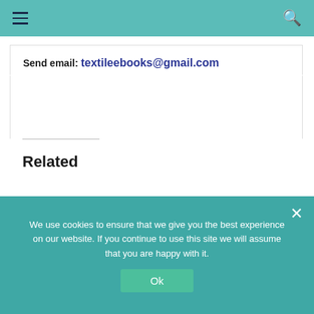Navigation bar with hamburger menu and search icon
Send email: textileebooks@gmail.com
Related
[Figure (photo): Book cover: Fiber Reinforced Polymer (FRP) Composites for Infrastructure Applications]
[Figure (photo): Book cover: Technology Applied for Concrete Repair]
We use cookies to ensure that we give you the best experience on our website. If you continue to use this site we will assume that you are happy with it.